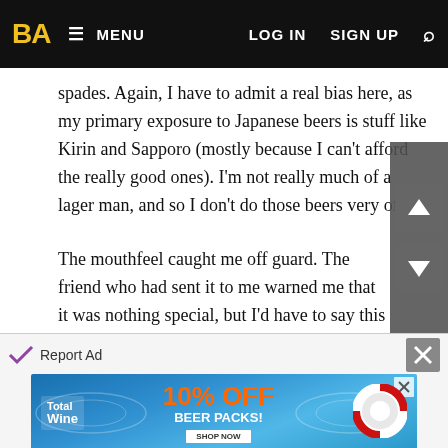BA | MENU | LOG IN | SIGN UP
spades. Again, I have to admit a real bias here, as my primary exposure to Japanese beers is stuff like Kirin and Sapporo (mostly because I can't afford the really good ones). I'm not really much of a lager man, and so I don't do those beers very often.
The mouthfeel caught me off guard. The friend who had sent it to me warned me that it was nothing special, but I'd have to say this is a very good beer indeed. As a matter of fact, it's better than any number of BC porters that I had at the Great Canadian Beer Festival, and I think it would also hold up well in a blind tasting. When cold, mouthfeel was very nice, almost velvety. It did thin out a bit as the beer warmed up, which is why I only gave it a 3.5, but on initial tasting it was spot on.
[Figure (screenshot): Total Wine advertisement banner with '10% OFF BEER PACKS!' promotion on a blue water background with beer bottle cap decorations]